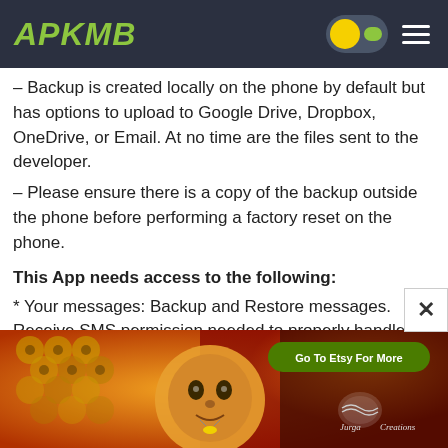APKMB
– Backup is created locally on the phone by default but has options to upload to Google Drive, Dropbox, OneDrive, or Email. At no time are the files sent to the developer.
– Please ensure there is a copy of the backup outside the phone before performing a factory reset on the phone.
This App needs access to the following:
* Your messages: Backup and Restore messages. Receive SMS permission needed to properly handle messages received while the app is the default messaging app.
* Your Calls and Contact information: Backup and Restore Call Logs.
[Figure (illustration): Advertisement banner showing colorful artistic illustration with a sun/face motif and honeycomb pattern, labeled 'Jurga Creations' with a 'Go To Etsy For More' button]